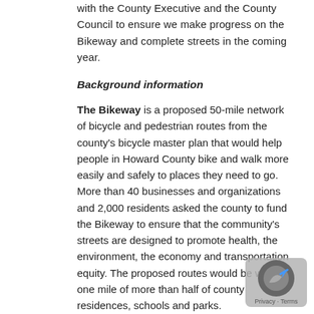with the County Executive and the County Council to ensure we make progress on the Bikeway and complete streets in the coming year.
Background information
The Bikeway is a proposed 50-mile network of bicycle and pedestrian routes from the county's bicycle master plan that would help people in Howard County bike and walk more easily and safely to places they need to go. More than 40 businesses and organizations and 2,000 residents asked the county to fund the Bikeway to ensure that the community's streets are designed to promote health, the environment, the economy and transportation equity. The proposed routes would be within one mile of more than half of county residences, schools and parks.
####